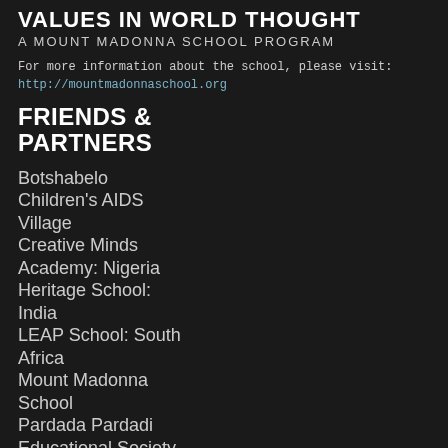VALUES IN WORLD THOUGHT
A MOUNT MADONNA SCHOOL PROGRAM
For more information about the school, please visit:
http://mountmadonnaschool.org
FRIENDS & PARTNERS
Botshabelo
Children's AIDS Village
Creative Minds Academy: Nigeria
Heritage School: India
LEAP School: South Africa
Mount Madonna School
Pardada Pardadi Educational Society